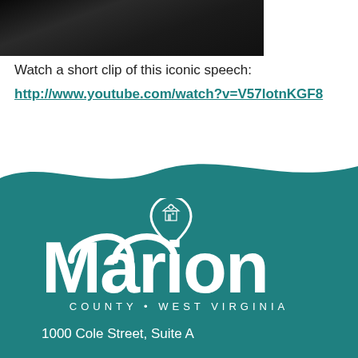[Figure (photo): Dark photo thumbnail of a person speaking at a podium or microphone]
Watch a short clip of this iconic speech:
http://www.youtube.com/watch?v=V57lotnKGF8
[Figure (logo): Marion County West Virginia logo with location pin icon above the M and text COUNTY • WEST VIRGINIA below]
1000 Cole Street, Suite A